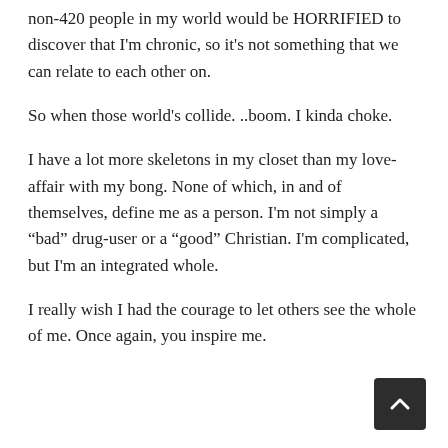non-420 people in my world would be HORRIFIED to discover that I'm chronic, so it's not something that we can relate to each other on.
So when those world's collide. ..boom. I kinda choke.
I have a lot more skeletons in my closet than my love-affair with my bong. None of which, in and of themselves, define me as a person. I'm not simply a “bad” drug-user or a “good” Christian. I'm complicated, but I'm an integrated whole.
I really wish I had the courage to let others see the whole of me. Once again, you inspire me.
[Figure (other): Back to top button — dark square button with an upward-pointing chevron arrow icon]